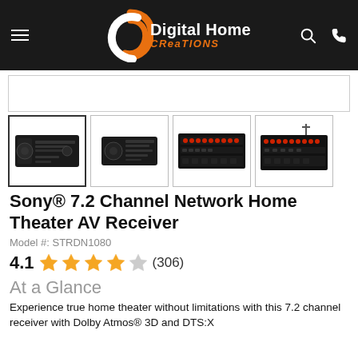Digital Home Creations
[Figure (photo): Main product image area (partially visible, white background)]
[Figure (photo): Thumbnail 1: Sony AV Receiver front view (selected)]
[Figure (photo): Thumbnail 2: Sony AV Receiver front angle view]
[Figure (photo): Thumbnail 3: Sony AV Receiver rear ports view]
[Figure (photo): Thumbnail 4: Sony AV Receiver rear view partial]
Sony® 7.2 Channel Network Home Theater AV Receiver
Model #: STRDN1080
4.1 ★★★★☆ (306)
At a Glance
Experience true home theater without limitations with this 7.2 channel receiver with Dolby Atmos® 3D and DTS:X